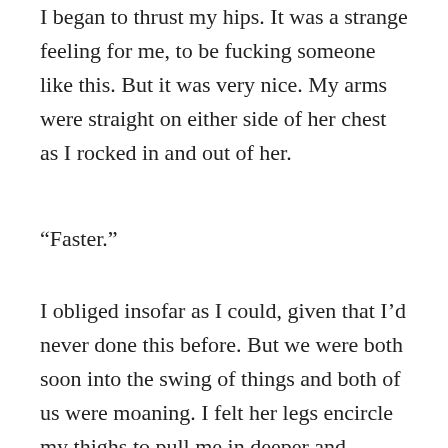I began to thrust my hips. It was a strange feeling for me, to be fucking someone like this. But it was very nice. My arms were straight on either side of her chest as I rocked in and out of her.
“Faster.”
I obliged insofar as I could, given that I’d never done this before. But we were both soon into the swing of things and both of us were moaning. I felt her legs encircle my thighs to pull me in deeper and control my pace, slowing me down, lengthening my thrusts. Our eyes locked.
Having the albeit artificial connection to my love was bliss itself. When she began to shake, I thrust as deeply into her as I could and held it until the storm passed as